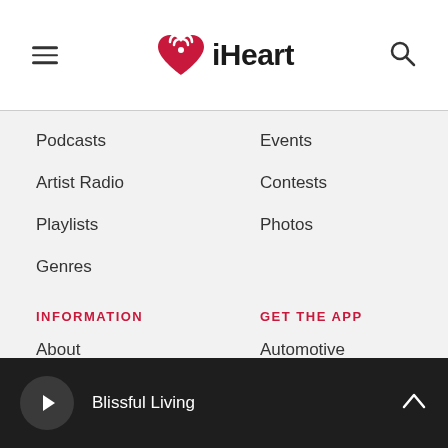[Figure (logo): iHeart logo with red heart/radio wave icon and black iHeart text]
Podcasts
Events
Artist Radio
Contests
Playlists
Photos
Genres
INFORMATION
GET THE APP
About
Automotive
Advertise
Home
Blog
Mobile
Blissful Living